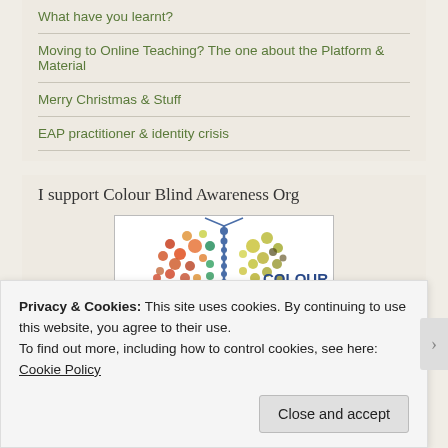What have you learnt?
Moving to Online Teaching? The one about the Platform & Material
Merry Christmas & Stuff
EAP practitioner & identity crisis
I support Colour Blind Awareness Org
[Figure (illustration): Colour Blind Awareness butterfly logo made of coloured dots with text COLOUR BLIND AWARENESS]
Privacy & Cookies: This site uses cookies. By continuing to use this website, you agree to their use.
To find out more, including how to control cookies, see here: Cookie Policy
Close and accept